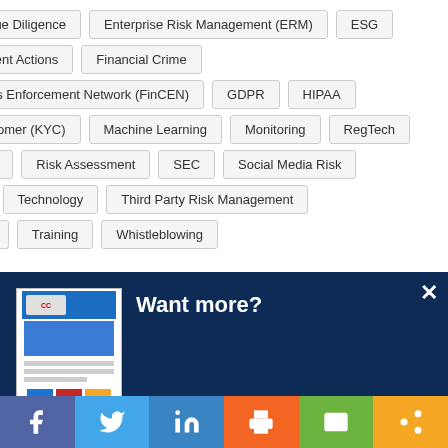Due Diligence
Enterprise Risk Management (ERM)
ESG
forcement Actions
Financial Crime
l Crimes Enforcement Network (FinCEN)
GDPR
HIPAA
ur Customer (KYC)
Machine Learning
Monitoring
RegTech
on Risk
Risk Assessment
SEC
Social Media Risk
hain
Technology
Third Party Risk Management
be Top
Training
Whistleblowing
Want more?
Get CCI's weekly round-up in your inbox. Unsubscribe anytime.
Let's do this!